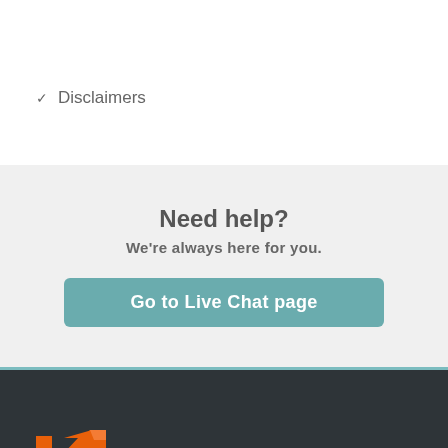Disclaimers
Need help?
We're always here for you.
Go to Live Chat page
[Figure (logo): Namecheap logo with orange N icon and white 'namecheap' text on dark background]